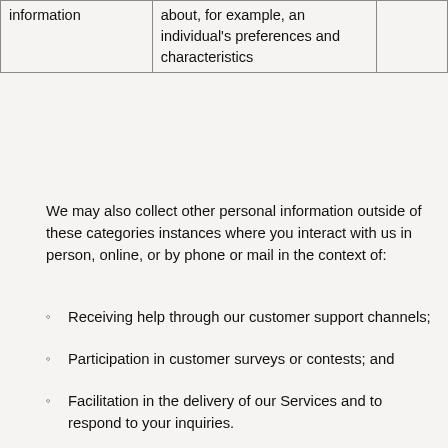| information | about, for example, an individual's preferences and characteristics |  |
We may also collect other personal information outside of these categories instances where you interact with us in person, online, or by phone or mail in the context of:
Receiving help through our customer support channels;
Participation in customer surveys or contests; and
Facilitation in the delivery of our Services and to respond to your inquiries.
How do we use and share your personal information?
More information about our data collection and sharing practices can be found in this privacy notice.
You may contact us by email at info@shroomstudio.com, or by referring to the contact details at the bottom of this document.
If you are using an authorised agent to exercise your right to opt out we may deny a request if the authorised agent does not submit proof that they have been validly authorised to act on your